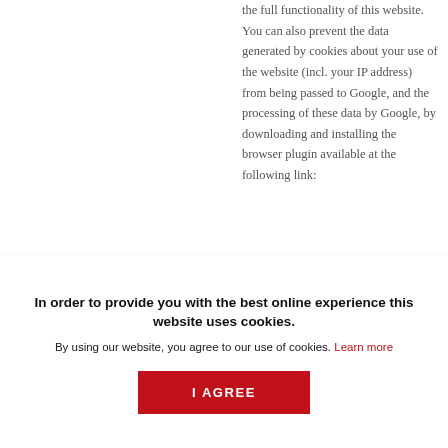the full functionality of this website. You can also prevent the data generated by cookies about your use of the website (incl. your IP address) from being passed to Google, and the processing of these data by Google, by downloading and installing the browser plugin available at the following link:
https://tools.google.com/dlpage/gaoptout?hl=en. Objecting to the collection of data You can opt-out the collection of your data by Google
In order to provide you with the best online experience this website uses cookies. By using our website, you agree to our use of cookies. Learn more
I AGREE